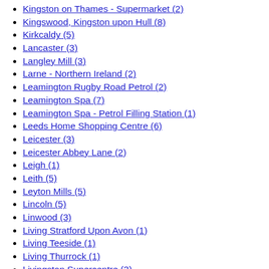Kingston on Thames - Supermarket (2)
Kingswood, Kingston upon Hull (8)
Kirkcaldy (5)
Lancaster (3)
Langley Mill (3)
Larne - Northern Ireland (2)
Leamington Rugby Road Petrol (2)
Leamington Spa (7)
Leamington Spa - Petrol Filling Station (1)
Leeds Home Shopping Centre (6)
Leicester (3)
Leicester Abbey Lane (2)
Leigh (1)
Leith (5)
Leyton Mills (5)
Lincoln (5)
Linwood (3)
Living Stratford Upon Avon (1)
Living Teeside (1)
Living Thurrock (1)
Livingston Supercentre (3)
Llandudno (1)
Llanelli (2)
Llantrisant Living (1)
Long Eaton (4)